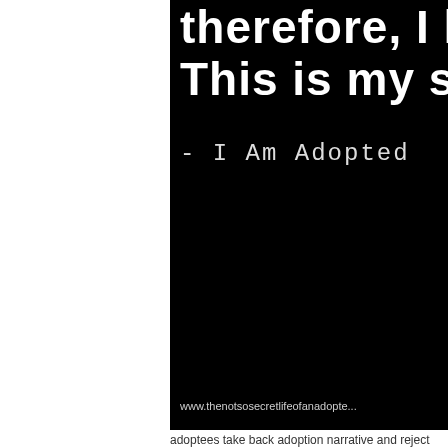[Figure (screenshot): Black background image with white bold text reading 'therefore, I kno...' and 'This is my story.' with '- I Am Adopted' and a website URL at the bottom: www.thenotsosecretlifeofanadopte...]
adoptees take back adoption narrative and reject propaganda
WANTED!
If you are a genealogist and know about DNA tests, tribal records and have acc... Use the contact form at the bottom of this blog asap.
Subscribe To
Posts
Comments
Join!